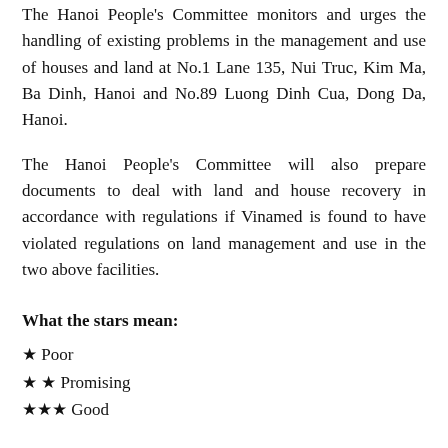The Hanoi People's Committee monitors and urges the handling of existing problems in the management and use of houses and land at No.1 Lane 135, Nui Truc, Kim Ma, Ba Dinh, Hanoi and No.89 Luong Dinh Cua, Dong Da, Hanoi.
The Hanoi People's Committee will also prepare documents to deal with land and house recovery in accordance with regulations if Vinamed is found to have violated regulations on land management and use in the two above facilities.
What the stars mean:
★ Poor
★ ★ Promising
★★★ Good